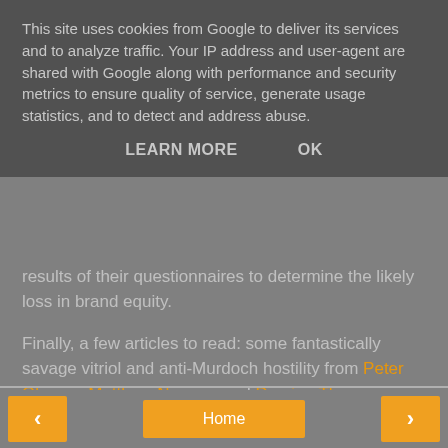This site uses cookies from Google to deliver its services and to analyze traffic. Your IP address and user-agent are shared with Google along with performance and security metrics to ensure quality of service, generate usage statistics, and to detect and address abuse.
LEARN MORE   OK
results of their questionnaires to determine the likely loss in brand equity.
Finally, a few articles to read: some fantastically savage vitriol and anti-Murdoch hostility from Peter Oborne, Matthew Norman and Damien Thompson. The coverage in Marketing Week, spearheaded by Lara O'Reilly, has also been excellent.
at 07:47   No comments:
Share
< Home >